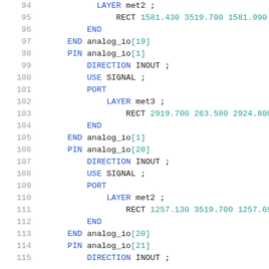94    LAYER met2 ;
95        RECT 1581.430 3519.700 1581.990 3524.80
96    END
97    END analog_io[19]
98    PIN analog_io[1]
99      DIRECTION INOUT ;
100     USE SIGNAL ;
101     PORT
102       LAYER met3 ;
103           RECT 2919.700 263.580 2924.800 264.780
104     END
105     END analog_io[1]
106     PIN analog_io[20]
107       DIRECTION INOUT ;
108       USE SIGNAL ;
109       PORT
110         LAYER met2 ;
111             RECT 1257.130 3519.700 1257.690 3524.80
112       END
113     END analog_io[20]
114     PIN analog_io[21]
115       DIRECTION INOUT ;